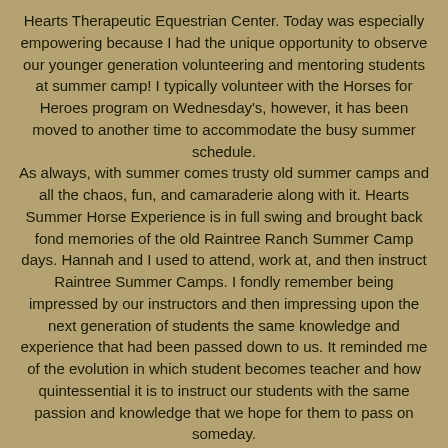Hearts Therapeutic Equestrian Center.  Today was especially empowering because I had the unique opportunity to observe our younger generation volunteering and mentoring students at summer camp!  I typically volunteer with the Horses for Heroes program on Wednesday's, however, it has been moved to another time to accommodate the busy summer schedule.
As always, with summer comes trusty old summer camps and all the chaos, fun, and camaraderie along with it.  Hearts Summer Horse Experience is in full swing and brought back fond memories of the old Raintree Ranch Summer Camp days. Hannah and I used to attend, work at, and then instruct Raintree Summer Camps.  I fondly remember being impressed by our instructors and then impressing upon the next generation of students the same knowledge and experience that had been passed down to us. It reminded me of the evolution in which student becomes teacher and how quintessential it is to instruct our students with the same passion and knowledge that we hope for them to pass on someday.